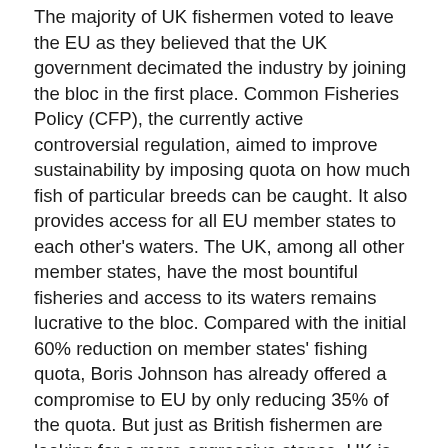The majority of UK fishermen voted to leave the EU as they believed that the UK government decimated the industry by joining the bloc in the first place. Common Fisheries Policy (CFP), the currently active controversial regulation, aimed to improve sustainability by imposing quota on how much fish of particular breeds can be caught. It also provides access for all EU member states to each other's waters. The UK, among all other member states, have the most bountiful fisheries and access to its waters remains lucrative to the bloc. Compared with the initial 60% reduction on member states' fishing quota, Boris Johnson has already offered a compromise to EU by only reducing 35% of the quota. But just as British fishermen are looking for a more aggressive stance, UK is also the largest exporter on fish, simply being aggressive in the negotiation will not bring much benefits as other states may impose tariffs as retaliation. As a result, volatility on GBP remains high, with GBPUSD overnight implied volatility at 21.3% compared with its 20-day average reading of 15.2%.